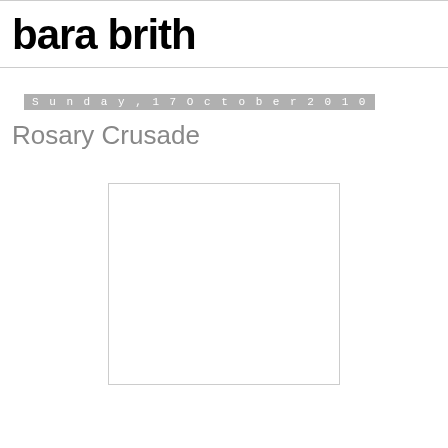bara brith
Sunday, 17 October 2010
Rosary Crusade
[Figure (photo): White/blank image placeholder with light gray border]